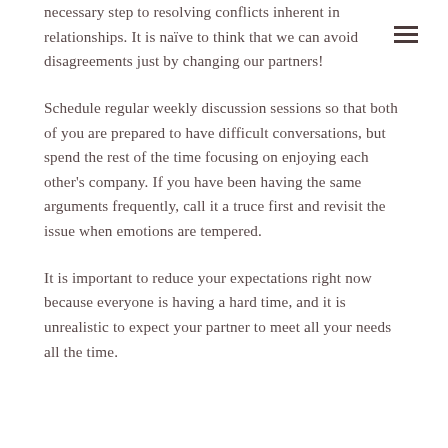necessary step to resolving conflicts inherent in relationships. It is naïve to think that we can avoid disagreements just by changing our partners!
Schedule regular weekly discussion sessions so that both of you are prepared to have difficult conversations, but spend the rest of the time focusing on enjoying each other's company. If you have been having the same arguments frequently, call it a truce first and revisit the issue when emotions are tempered.
It is important to reduce your expectations right now because everyone is having a hard time, and it is unrealistic to expect your partner to meet all your needs all the time.